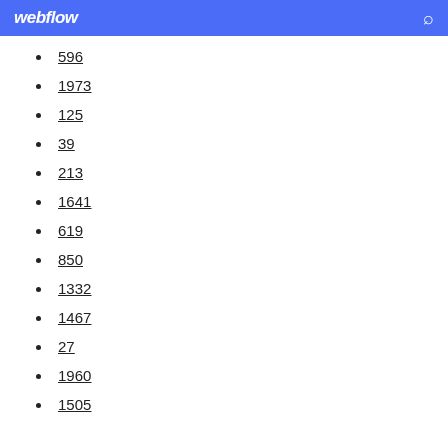webflow
596
1973
125
39
213
1641
619
850
1332
1467
27
1960
1505